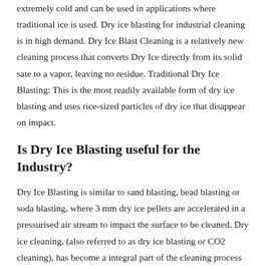extremely cold and can be used in applications where traditional ice is used. Dry ice blasting for industrial cleaning is in high demand. Dry Ice Blast Cleaning is a relatively new cleaning process that converts Dry Ice directly from its solid sate to a vapor, leaving no residue. Traditional Dry Ice Blasting: This is the most readily available form of dry ice blasting and uses rice-sized particles of dry ice that disappear on impact.
Is Dry Ice Blasting useful for the Industry?
Dry Ice Blasting is similar to sand blasting, bead blasting or soda blasting, where 3 mm dry ice pellets are accelerated in a pressurised air stream to impact the surface to be cleaned. Dry ice cleaning, (also referred to as dry ice blasting or CO2 cleaning), has become a integral part of the cleaning process